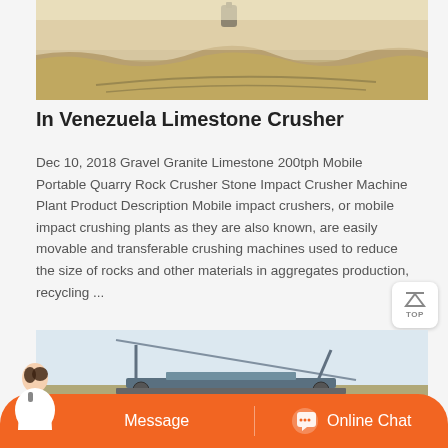[Figure (photo): Aerial or ground-level photo of sandy/rocky quarry terrain with tracks and a small dark object]
In Venezuela Limestone Crusher
Dec 10, 2018 Gravel Granite Limestone 200tph Mobile Portable Quarry Rock Crusher Stone Impact Crusher Machine Plant Product Description Mobile impact crushers, or mobile impact crushing plants as they are also known, are easily movable and transferable crushing machines used to reduce the size of rocks and other materials in aggregates production, recycling ...
[Figure (photo): Photo of a large mobile crusher or conveyor equipment on a construction or quarry site against a pale blue sky]
Message   Online Chat